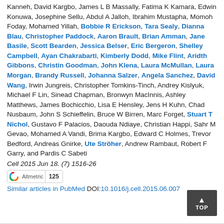Kanneh, David Kargbo, James L B Massally, Fatima K Kamara, Edwin Konuwa, Josephine Sellu, Abdul A Jalloh, Ibrahim Mustapha, Momoh Foday, Mohamed Yillah, Bobbie R Erickson, Tara Sealy, Dianna Blau, Christopher Paddock, Aaron Brault, Brian Amman, Jane Basile, Scott Bearden, Jessica Belser, Eric Bergeron, Shelley Campbell, Ayan Chakrabarti, Kimberly Dodd, Mike Flint, Aridth Gibbons, Christin Goodman, John Klena, Laura McMullan, Laura Morgan, Brandy Russell, Johanna Salzer, Angela Sanchez, David Wang, Irwin Jungreis, Christopher Tomkins-Tinch, Andrey Kislyuk, Michael F Lin, Sinead Chapman, Bronwyn MacInnis, Ashley Matthews, James Bochicchio, Lisa E Hensley, Jens H Kuhn, Chad Nusbaum, John S Schieffelin, Bruce W Birren, Marc Forget, Stuart T Nichol, Gustavo F Palacios, Daouda Ndiaye, Christian Happi, Sahr M Gevao, Mohamed A Vandi, Brima Kargbo, Edward C Holmes, Trevor Bedford, Andreas Gnirke, Ute Ströher, Andrew Rambaut, Robert F Garry, and Pardis C Sabeti
Cell 2015 Jun 18. (7) 1516-26
[Figure (other): Altmetric badge showing score 125]
Similar articles in PubMed DOI: 10.1016/j.cell.2015.06.007